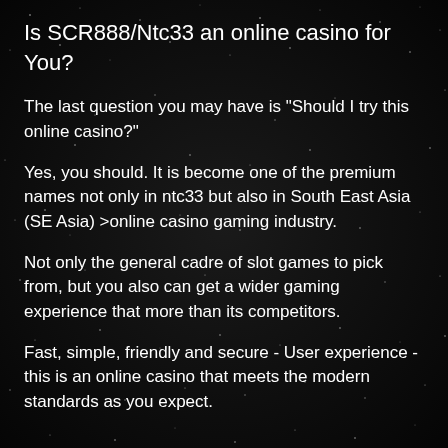Is SCR888/Ntc33 an online casino for You?
The last question you may have is "Should I try this online casino?"
Yes, you should. It is become one of the premium names not only in ntc33 but also in South East Asia (SE Asia) >online casino gaming industry.
Not only the general cadre of slot games to pick from, but you also can get a wider gaming experience that more than its competitors.
Fast, simple, friendly and secure - User experience - this is an online casino that meets the modern standards as you expect.